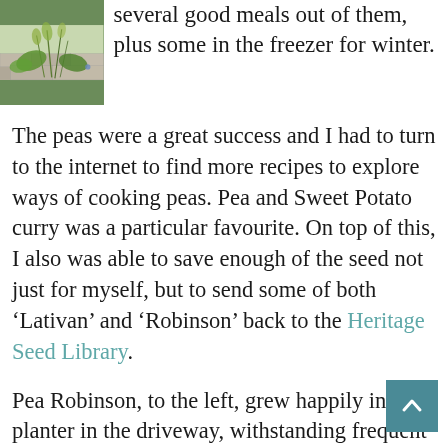[Figure (photo): Photo of green plants growing in a raised garden bed or planter]
several good meals out of them, plus some in the freezer for winter.
The peas were a great success and I had to turn to the internet to find more recipes to explore ways of cooking peas. Pea and Sweet Potato curry was a particular favourite. On top of this, I also was able to save enough of the seed not just for myself, but to send some of both ‘Lativan’ and ‘Robinson’ back to the Heritage Seed Library.
Pea Robinson, to the left, grew happily in my planter in the driveway, withstanding frequent high winds that